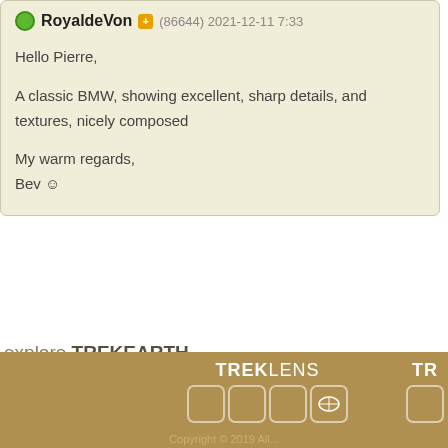RoyaldeVon (86644) 2021-12-11 7:33
Hello Pierre,

A classic BMW, showing excellent, sharp details, and textures, nicely composed

My warm regards,
Bev ☺
explore TREKEARTH
TrekEarth Links: Gallery, Forums, Members, About, RSS Feeds
Photography: Photos, Critiques, Themes, Categories, Workshops
Photo E: Nikon, Canon, Canon, Nikon, Panase
TREKLENS | TR | Copyright © 2019 All...